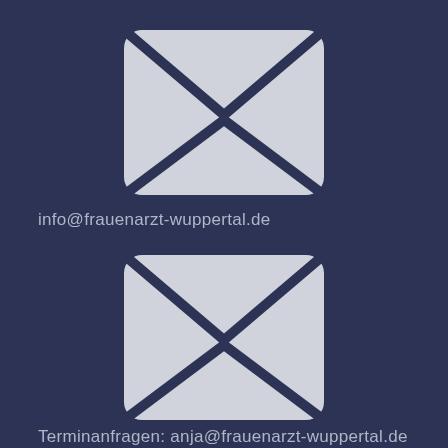[Figure (illustration): Email envelope icon in light gray on dark navy background]
info@frauenarzt-wuppertal.de
[Figure (illustration): Email envelope icon in light gray on dark navy background]
Terminanfragen: anja@frauenarzt-wuppertal.de